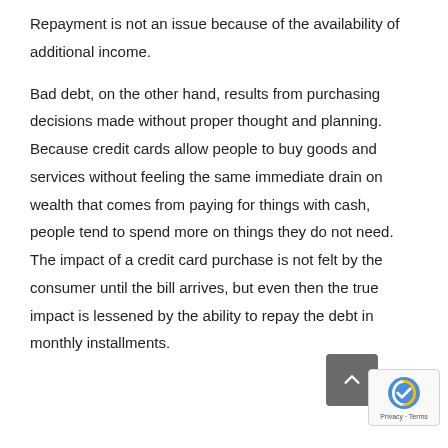Repayment is not an issue because of the availability of additional income.
Bad debt, on the other hand, results from purchasing decisions made without proper thought and planning. Because credit cards allow people to buy goods and services without feeling the same immediate drain on wealth that comes from paying for things with cash, people tend to spend more on things they do not need. The impact of a credit card purchase is not felt by the consumer until the bill arrives, but even then the true impact is lessened by the ability to repay the debt in monthly installments.